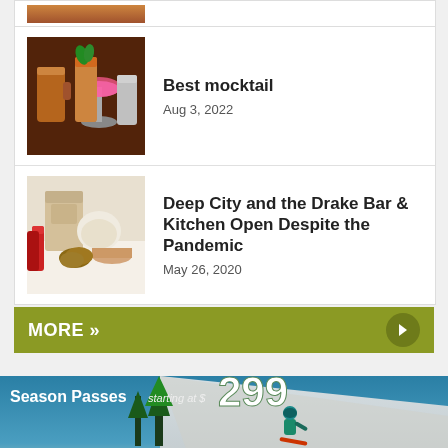[Figure (photo): Partial top article thumbnail visible at top of page]
[Figure (photo): Photo of colorful mocktail drinks including a pink coupe glass and a copper mug with mint garnish on a dark bar surface]
Best mocktail
Aug 3, 2022
[Figure (photo): Photo of takeout food including bags, bowls, and colorful items with red bottles in background]
Deep City and the Drake Bar & Kitchen Open Despite the Pandemic
May 26, 2020
MORE »
[Figure (photo): Advertisement banner: Season Passes starting at $299 - ski slope photo with skier - Purchase by Labor Day and SAVE!]